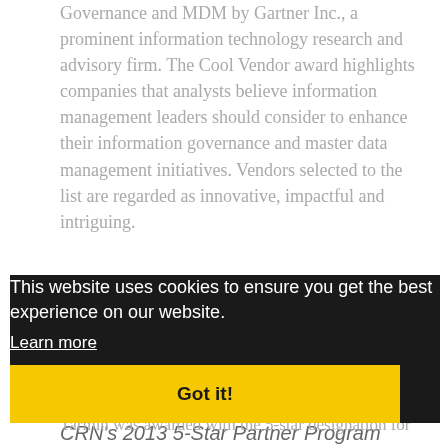Governance and MDM by Gartner Inc., a prominent information technology research and advisory firm. The Cool Vendor award highlights companies that analysts believe information management leaders should consider to enhance their information governance and master data management initiatives. Vendors selected to the list are regarded as innovative, impactful and intriguing.
[Figure (screenshot): Cookie consent banner overlay on a dark background section. Banner contains text 'This website uses cookies to ensure you get the best experience on our website.' with a 'Learn more' link and a yellow 'Got it!' button. Behind the banner, partially visible dark background shows a logo area with text 'WINNER 2013' and italic text 'CRN's 2013 5-Star Partner Program'.]
Tarmin was awarded with the 5-star designation for